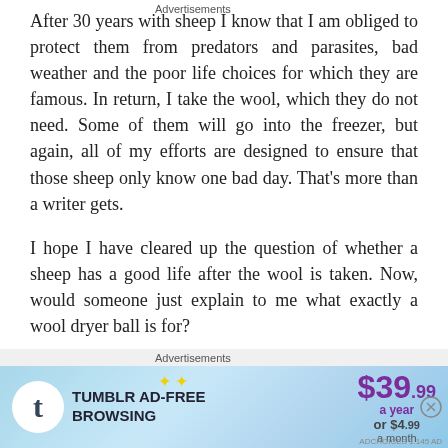After 30 years with sheep I know that I am obliged to protect them from predators and parasites, bad weather and the poor life choices for which they are famous. In return, I take the wool, which they do not need. Some of them will go into the freezer, but again, all of my efforts are designed to ensure that those sheep only know one bad day. That's more than a writer gets.
I hope I have cleared up the question of whether a sheep has a good life after the wool is taken. Now, would someone just explain to me what exactly a wool dryer ball is for?
Advertisements
[Figure (screenshot): Tumblr Ad-Free Browsing advertisement banner. Shows Tumblr logo, text 'TUMBLR AD-FREE BROWSING', price $39.99 a year or $4.99 a month, with sparkle decorations on a blue gradient background.]